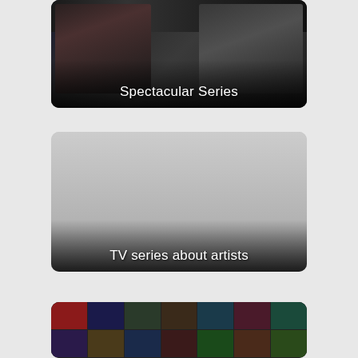[Figure (photo): Top card showing two people sitting facing each other with audio/recording equipment in the background, with 'Spectacular Series' label overlay at the bottom]
[Figure (photo): Middle card with a gray/light background (placeholder image) and 'TV series about artists' label overlay at the bottom]
[Figure (photo): Bottom card showing a collage of movie/TV show poster thumbnails in a grid layout]